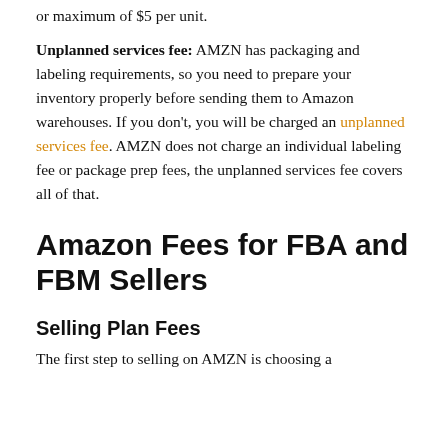or maximum of $5 per unit.
Unplanned services fee: AMZN has packaging and labeling requirements, so you need to prepare your inventory properly before sending them to Amazon warehouses. If you don't, you will be charged an unplanned services fee. AMZN does not charge an individual labeling fee or package prep fees, the unplanned services fee covers all of that.
Amazon Fees for FBA and FBM Sellers
Selling Plan Fees
The first step to selling on AMZN is choosing a